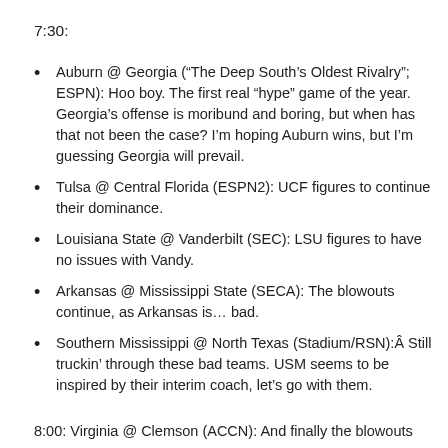7:30:
Auburn @ Georgia (“The Deep South’s Oldest Rivalry”; ESPN): Hoo boy. The first real “hype” game of the year. Georgia’s offense is moribund and boring, but when has that not been the case? I’m hoping Auburn wins, but I’m guessing Georgia will prevail.
Tulsa @ Central Florida (ESPN2): UCF figures to continue their dominance.
Louisiana State @ Vanderbilt (SEC): LSU figures to have no issues with Vandy.
Arkansas @ Mississippi State (SECA): The blowouts continue, as Arkansas is… bad.
Southern Mississippi @ North Texas (Stadium/RSN):Â Still truckin’ through these bad teams. USM seems to be inspired by their interim coach, let’s go with them.
8:00: Virginia @ Clemson (ACCN): And finally the blowouts